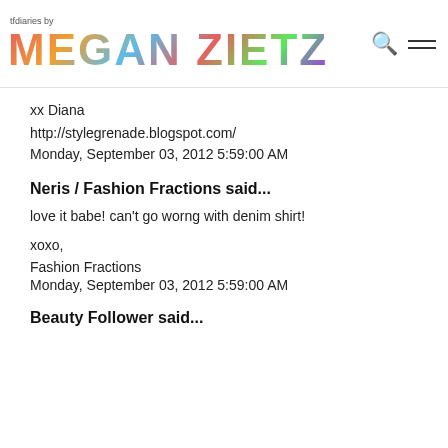tfdiaries by MEGAN ZIETZ
xx Diana
http://stylegrenade.blogspot.com/
Monday, September 03, 2012 5:59:00 AM
Neris / Fashion Fractions said...
love it babe! can't go worng with denim shirt!

xoxo,

Fashion Fractions
Monday, September 03, 2012 5:59:00 AM
Beauty Follower said...